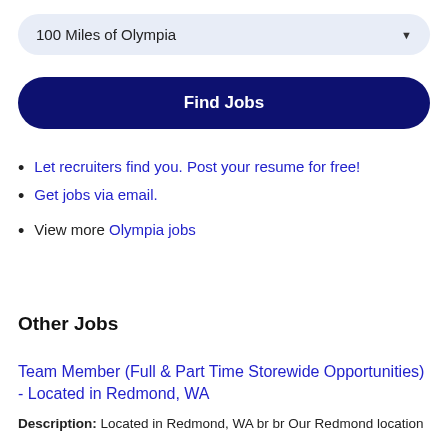100 Miles of Olympia
Find Jobs
Let recruiters find you. Post your resume for free!
Get jobs via email.
View more Olympia jobs
Other Jobs
Team Member (Full & Part Time Storewide Opportunities) - Located in Redmond, WA
Description: Located in Redmond, WA br br Our Redmond location